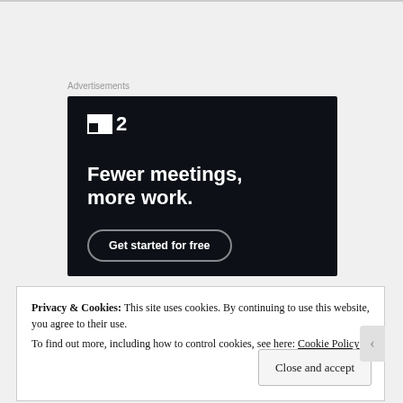Advertisements
[Figure (illustration): Dark navy advertisement banner for a project management tool showing a logo consisting of a white square with a small dark cutout dot next to the number 2, tagline 'Fewer meetings, more work.' in large bold white text, and a 'Get started for free' button with rounded border.]
Privacy & Cookies: This site uses cookies. By continuing to use this website, you agree to their use.
To find out more, including how to control cookies, see here: Cookie Policy
Close and accept